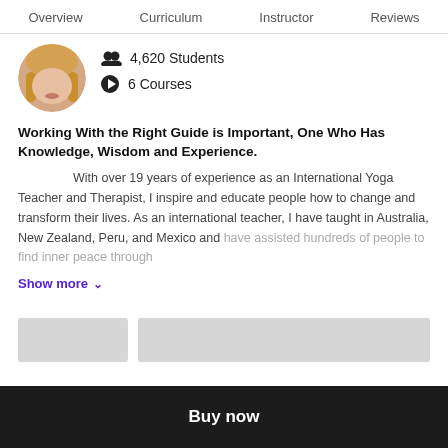Overview   Curriculum   Instructor   Reviews
[Figure (photo): Circular avatar photo of a blonde woman, cropped to show lower face and hair]
4,620 Students
6 Courses
Working With the Right Guide is Important, One Who Has Knowledge, Wisdom and Experience.
With over 19 years of experience as an International Yoga Teacher and Therapist, I inspire and educate people how to change and transform their lives. As an international teacher, I have taught in Australia, New Zealand, Peru, and Mexico and have assisted hundreds of people to find inner peace through
Show more ∨
Buy now